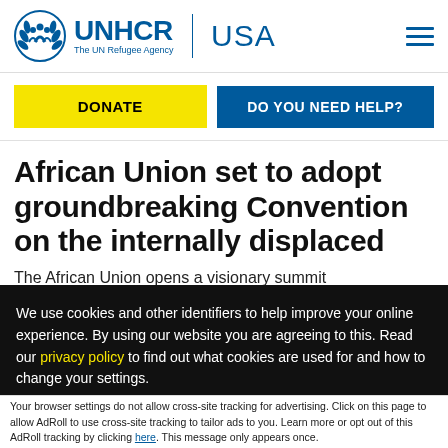UNHCR USA — The UN Refugee Agency
DONATE
DO YOU NEED HELP?
African Union set to adopt groundbreaking Convention on the internally displaced
The African Union opens a visionary summit
We use cookies and other identifiers to help improve your online experience. By using our website you are agreeing to this. Read our privacy policy to find out what cookies are used for and how to change your settings.
Accept and Close ×
Your browser settings do not allow cross-site tracking for advertising. Click on this page to allow AdRoll to use cross-site tracking to tailor ads to you. Learn more or opt out of this AdRoll tracking by clicking here. This message only appears once.